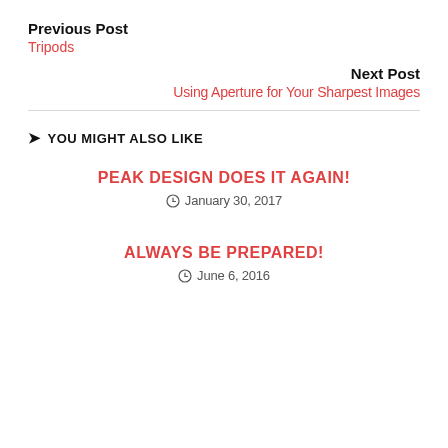Previous Post
Tripods
Next Post
Using Aperture for Your Sharpest Images
YOU MIGHT ALSO LIKE
PEAK DESIGN DOES IT AGAIN!
January 30, 2017
ALWAYS BE PREPARED!
June 6, 2016